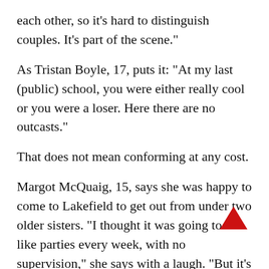each other, so it's hard to distinguish couples. It's part of the scene."
As Tristan Boyle, 17, puts it: "At my last (public) school, you were either really cool or you were a loser. Here there are no outcasts."
That does not mean conforming at any cost.
Margot McQuaig, 15, says she was happy to come to Lakefield to get out from under two older sisters. "I thought it was going to be like parties every week, with no supervision," she says with a laugh. "But it's more structured than at home."
Concedes her mother, Diane Boyle: "Margot was not a team sort of person. She was deathly white at the icebreaker (a get-to-know-you social on the first day),